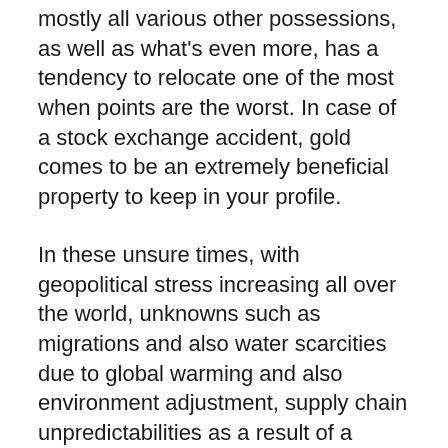mostly all various other possessions, as well as what's even more, has a tendency to relocate one of the most when points are the worst. In case of a stock exchange accident, gold comes to be an extremely beneficial property to keep in your profile.
In these unsure times, with geopolitical stress increasing all over the world, unknowns such as migrations and also water scarcities due to global warming and also environment adjustment, supply chain unpredictabilities as a result of a worldwide pandemic, political instability, and worries of a misestimated stock market, gold is merely the very best to hedge versus all of these threats.